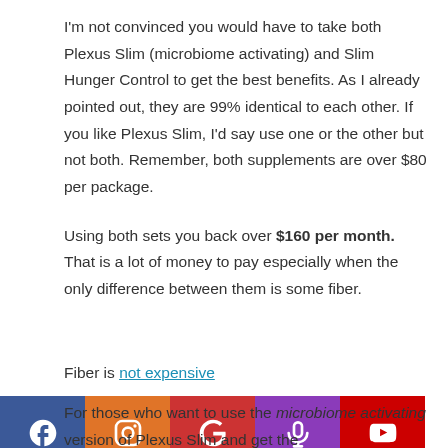I'm not convinced you would have to take both Plexus Slim (microbiome activating) and Slim Hunger Control to get the best benefits. As I already pointed out, they are 99% identical to each other. If you like Plexus Slim, I'd say use one or the other but not both. Remember, both supplements are over $80 per package.
Using both sets you back over $160 per month. That is a lot of money to pay especially when the only difference between them is some fiber.
Fiber is not expensive
For those who want to use the microbiome activating version of Plexus Slim and get the